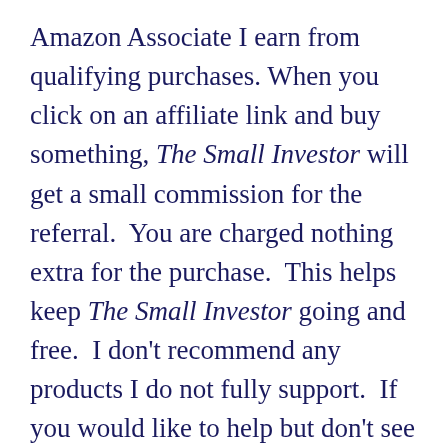Amazon Associate I earn from qualifying purchases. When you click on an affiliate link and buy something, The Small Investor will get a small commission for the referral.  You are charged nothing extra for the purchase.  This helps keep The Small Investor going and free.  I don't recommend any products I do not fully support.  If you would like to help but don't see anything you need, feel free to visit Amazon through this link and buy whatever you wish.  The Small Investor will get a small commission when you do, again at no cost to you.)